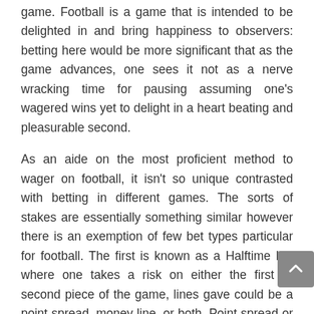game. Football is a game that is intended to be delighted in and bring happiness to observers: betting here would be more significant that as the game advances, one sees it not as a nerve wracking time for pausing assuming one's wagered wins yet to delight in a heart beating and pleasurable second.
As an aide on the most proficient method to wager on football, it isn't so unique contrasted with betting in different games. The sorts of stakes are essentially something similar however there is an exemption of few bet types particular for football. The first is known as a Halftime bet where one takes a risk on either the first or second piece of the game, lines gave could be a point spread, money line, or both. Point spread or spread betting is the point at which one wagers on either the top pick or dark horse group in which the one they pick must be victorious by a specific measure of focuses to guarantee a profit from their money.
A spread is a variety of results where the bet set is on